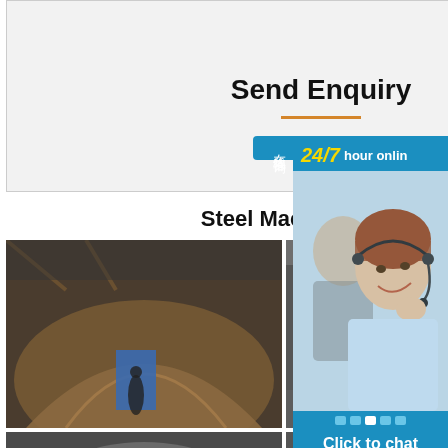Send Enquiry
Steel Machinig Service
[Figure (photo): Steel fabrication - large curved steel structure with worker]
[Figure (photo): Steel fabrication - multiple steel mold boxes in factory]
[Figure (photo): Steel fabrication - large cylindrical pressure vessel]
[Figure (photo): Steel fabrication - large rotating drum/barrel component]
[Figure (photo): Steel machining parts on shop floor]
[Figure (photo): Steel fabricated machine parts]
[Figure (photo): 24/7 hour online chat service - customer support representative with headset]
24/7 hour online
Click to chat
在线咨询